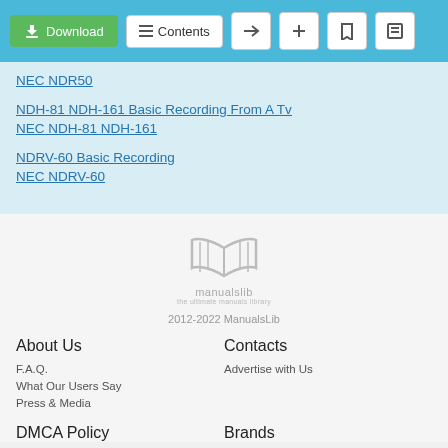Download | Contents toolbar
NEC NDR50
NDH-81 NDH-161 Basic Recording From A Tv
NEC NDH-81 NDH-161
NDRV-60 Basic Recording
NEC NDRV-60
[Figure (logo): ManualsLib open book logo with text 'manualslib the ultimate manuals library']
2012-2022 ManualsLib
About Us
Contacts
F.A.Q.
Advertise with Us
What Our Users Say
Press & Media
DMCA Policy
Brands